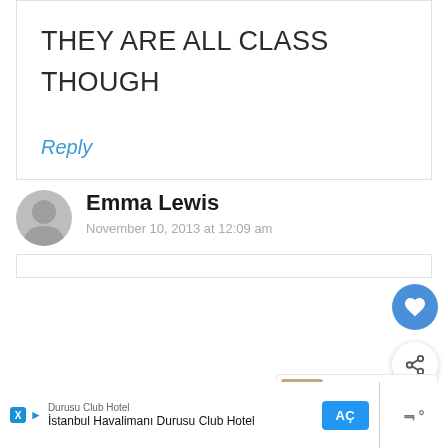THEY ARE ALL CLASS THOUGH
Reply
Emma Lewis
November 10, 2013 at 12:09 am
[Figure (infographic): Like (heart) button - blue circle with white heart icon]
[Figure (infographic): Share button - white circle with share icon]
[Figure (infographic): What's Next panel with thumbnail showing Toomies Jurassic...]
[Figure (infographic): Advertisement bar at bottom: Durusu Club Hotel - Istanbul Havalimanı Durusu Club Hotel with AÇ button]